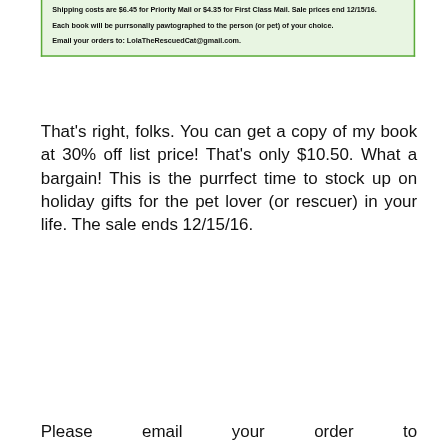[Figure (other): Green-bordered box (partial, top cropped) with bold text about shipping costs, pawtographed books, and email order instructions.]
That's right, folks. You can get a copy of my book at 30% off list price! That's only $10.50. What a bargain! This is the purrfect time to stock up on holiday gifts for the pet lover (or rescuer) in your life. The sale ends 12/15/16.
Please email your order to LolaTheRescuedCat@gmail.com. After we get your order, we will tell you how much to send us via pay pal. When